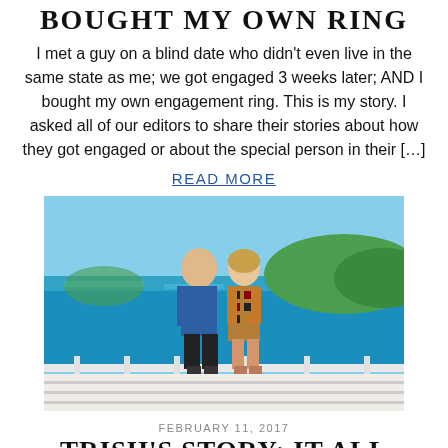BOUGHT MY OWN RING
I met a guy on a blind date who didn't even live in the same state as me; we got engaged 3 weeks later; AND I bought my own engagement ring. This is my story. I asked all of our editors to share their stories about how they got engaged or about the special person in their […]
READ MORE
[Figure (photo): A couple standing together on a balcony or deck overlooking turquoise tropical water with green hills in the background. The man is wearing a blue shirt and dark shorts; the woman is wearing a colorful patterned dress.]
FEBRUARY 11, 2017
TRISH'S STORY: IT ALL STARTED AT THE STATUE OF LIBERTY